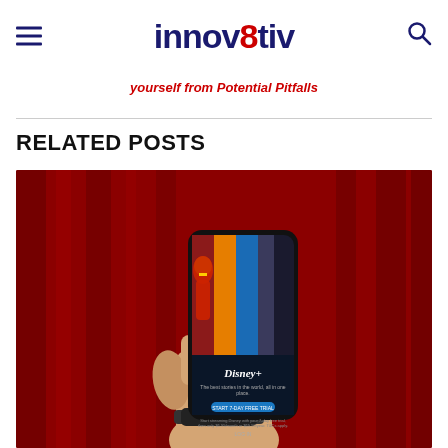innov8tiv
yourself from Potential Pitfalls
RELATED POSTS
[Figure (photo): A hand holding a smartphone displaying the Disney+ app interface with Marvel characters against a red background]